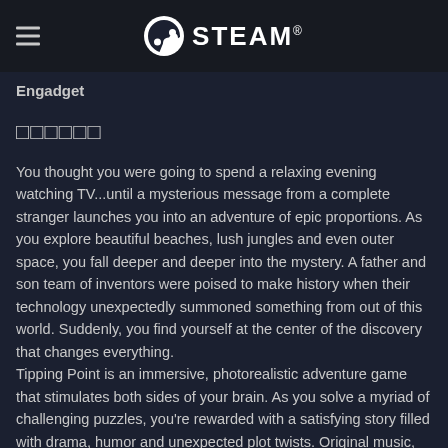STEAM
Engadget
□□□□□□
You thought you were going to spend a relaxing evening watching TV...until a mysterious message from a complete stranger launches you into an adventure of epic proportions. As you explore beautiful beaches, lush jungles and even outer space, you fall deeper and deeper into the mystery. A father and son team of inventors were poised to make history when their technology unexpectedly summoned something from out of this world. Suddenly, you find yourself at the center of the discovery that changes everything.
Tipping Point is an immersive, photorealistic adventure game that stimulates both sides of your brain. As you solve a myriad of challenging puzzles, you're rewarded with a satisfying story filled with drama, humor and unexpected plot twists. Original music, lifelike characters, animals and scenery all come together to